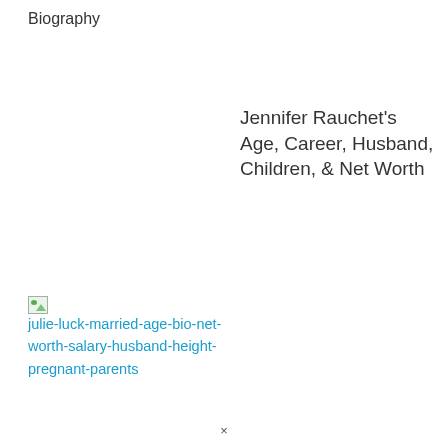Biography
Jennifer Rauchet’s Age, Career, Husband, Children, & Net Worth
[Figure (other): Broken/placeholder image icon for julie-luck-married-age-bio-net-worth-salary-husband-height-pregnant-parents with blue hyperlink text]
Is Julie Luck Married? News Anchor Julie Luck’s Age, Bio, Net Worth, Salary, Husband, Height, Pregnant, Parents